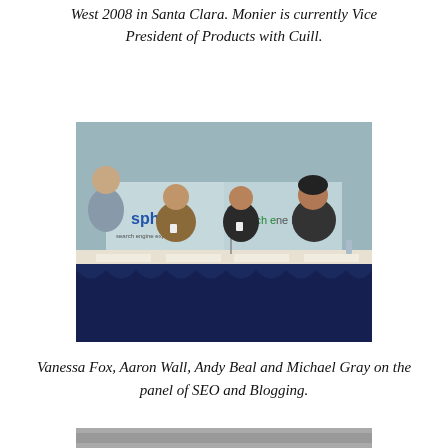West 2008 in Santa Clara. Monier is currently Vice President of Products with Cuill.
[Figure (photo): Panel of four speakers — Vanessa Fox, Aaron Wall, Andy Beal and Michael Gray — seated at a draped table in front of sphinn and search engine land banners.]
Vanessa Fox, Aaron Wall, Andy Beal and Michael Gray on the panel of SEO and Blogging.
[Figure (photo): Partial view of another conference scene, cropped at the bottom of the page.]